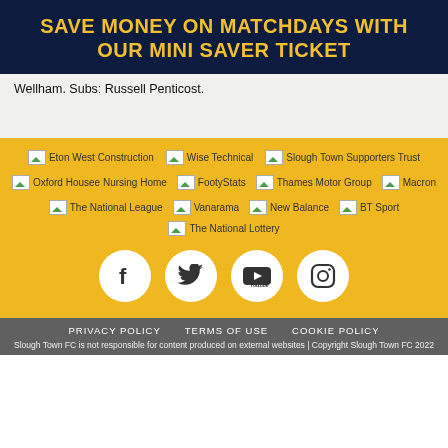SAVE MONEY ON MATCHDAYS WITH OUR MINI SAVER TICKET
Wellham. Subs: Russell Penticost.
[Figure (logo): Sponsor logos row 1: Eton West Construction, Wise Technical, Slough Town Supporters Trust]
[Figure (logo): Sponsor logos row 2: Oxford Housee Nursing Home, FootyStats, Thames Motor Group, Macron]
[Figure (logo): Sponsor logos row 3: The National League, Vanarama, New Balance, BT Sport]
[Figure (logo): Sponsor logo row 4: The National Lottery]
[Figure (infographic): Social media icons: Facebook, Twitter, YouTube, Instagram]
PRIVACY POLICY   TERMS OF USE   COOKIE POLICY
Slough Town FC is not responsible for content produced on external websites | Copyright Slough Town FC 2022